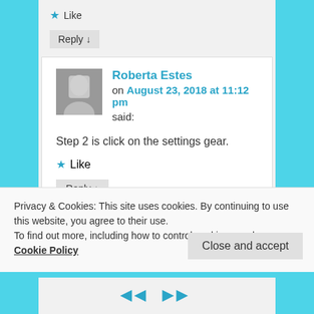Like
Reply ↓
Roberta Estes on August 23, 2018 at 11:12 pm said:
Step 2 is click on the settings gear.
Like
Reply ↓
Privacy & Cookies: This site uses cookies. By continuing to use this website, you agree to their use.
To find out more, including how to control cookies, see here: Cookie Policy
Close and accept